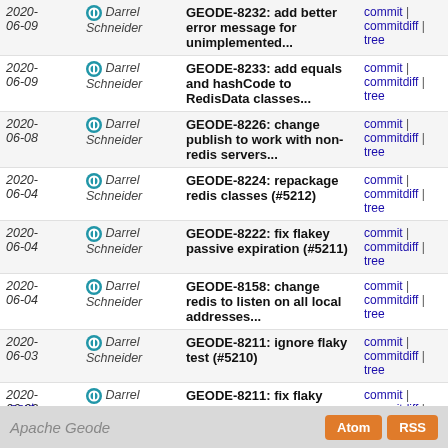| Date | Author | Message | Links |
| --- | --- | --- | --- |
| 2020-06-09 | Darrel Schneider | GEODE-8232: add better error message for unimplemented... | commit | commitdiff | tree |
| 2020-06-09 | Darrel Schneider | GEODE-8233: add equals and hashCode to RedisData classes... | commit | commitdiff | tree |
| 2020-06-08 | Darrel Schneider | GEODE-8226: change publish to work with non-redis servers... | commit | commitdiff | tree |
| 2020-06-04 | Darrel Schneider | GEODE-8224: repackage redis classes (#5212) | commit | commitdiff | tree |
| 2020-06-04 | Darrel Schneider | GEODE-8222: fix flakey passive expiration (#5211) | commit | commitdiff | tree |
| 2020-06-04 | Darrel Schneider | GEODE-8158: change redis to listen on all local addresses... | commit | commitdiff | tree |
| 2020-06-03 | Darrel Schneider | GEODE-8211: ignore flaky test (#5210) | commit | commitdiff | tree |
| 2020-06-03 | Darrel Schneider | GEODE-8211: fix flaky shutdown test (#5209) | commit | commitdiff | tree |
| 2020-06-03 | Darrel Schneider | GEODE-8215: start server should fail if redis fails... | commit | commitdiff | tree |
| 2020-06-02 | Darrel Schneider | repackaged GlobPattern (#5190) | commit | commitdiff | tree |
next
Apache Geode